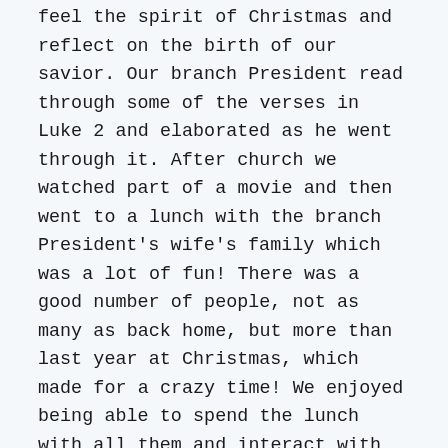feel the spirit of Christmas and reflect on the birth of our savior. Our branch President read through some of the verses in Luke 2 and elaborated as he went through it. After church we watched part of a movie and then went to a lunch with the branch President's wife's family which was a lot of fun! There was a good number of people, not as many as back home, but more than last year at Christmas, which made for a crazy time! We enjoyed being able to spend the lunch with all them and interact with them as we ate a delicious lunch because of which it was difficult for us to walk back to the church afterwards! We finished up that movie and then watched half of another one. Which we will be finishing today! We watched Zootopia and then It's a Wonderful Life. Neither of